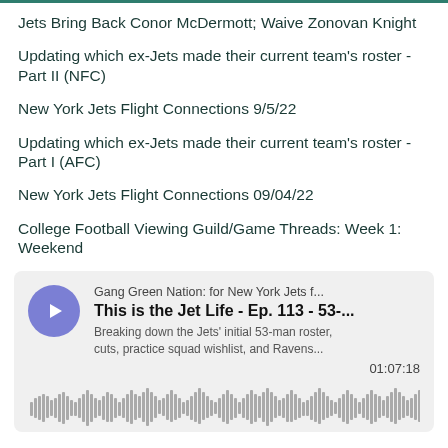Jets Bring Back Conor McDermott; Waive Zonovan Knight
Updating which ex-Jets made their current team's roster - Part II (NFC)
New York Jets Flight Connections 9/5/22
Updating which ex-Jets made their current team's roster - Part I (AFC)
New York Jets Flight Connections 09/04/22
College Football Viewing Guild/Game Threads: Week 1: Weekend
[Figure (screenshot): Podcast player card for 'Gang Green Nation: for New York Jets f...' showing episode 'This is the Jet Life - Ep. 113 - 53-...' with description 'Breaking down the Jets initial 53-man roster, cuts, practice squad wishlist, and Ravens...' Duration 01:07:18, with audio waveform visualization.]